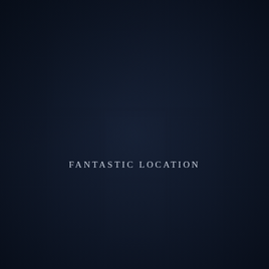[Figure (photo): Dark navy-toned architectural background showing a building facade or door with paneled surfaces, heavily darkened with a deep blue overlay, rendered in very low contrast]
FANTASTIC LOCATION